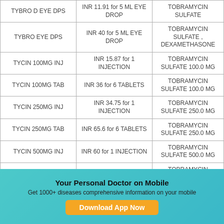| TYBRO D EYE DPS | INR 11.91 for 5 ML EYE DROP | TOBRAMYCIN SULFATE |
| TYBRO EYE DPS | INR 40 for 5 ML EYE DROP | TOBRAMYCIN SULFATE , DEXAMETHASONE |
| TYCIN 100MG INJ | INR 15.87 for 1 INJECTION | TOBRAMYCIN SULFATE 100.0 MG |
| TYCIN 100MG TAB | INR 36 for 6 TABLETS | TOBRAMYCIN SULFATE 100.0 MG |
| TYCIN 250MG INJ | INR 34.75 for 1 INJECTION | TOBRAMYCIN SULFATE 250.0 MG |
| TYCIN 250MG TAB | INR 65.6 for 6 TABLETS | TOBRAMYCIN SULFATE 250.0 MG |
| TYCIN 500MG INJ | INR 60 for 1 INJECTION | TOBRAMYCIN SULFATE 500.0 MG |
| TYCIN 500MG TAB | INR 81 for 6 TABLETS | TOBRAMYCIN SULFATE 500.0 MG |
| TYCIN 80ML INJ | INR 44.4 for 1 INJECTION | TOBRAMYCIN SULFATE 80.0 ML |
| ... | ... | TOBRAMYCIN ... |
Your Personal Doctor on Mobile
Get 1000+ diseases comprehensive information on your mobile
Download App Now